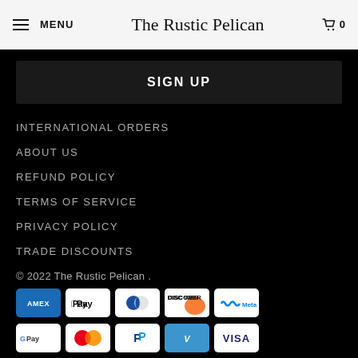MENU  The Rustic Pelican  0
SIGN UP
INTERNATIONAL ORDERS
ABOUT US
REFUND POLICY
TERMS OF SERVICE
PRIVACY POLICY
TRADE DISCOUNTS
© 2022 The Rustic Pelican .
[Figure (other): Payment method icons: American Express, Apple Pay, Diners Club, Discover, Meta Pay (row 1); Google Pay, Mastercard, PayPal, Venmo, Visa (row 2)]